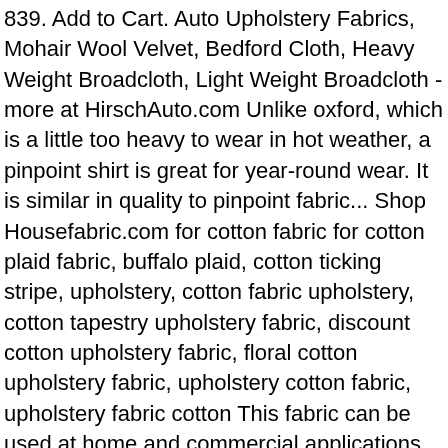839. Add to Cart. Auto Upholstery Fabrics, Mohair Wool Velvet, Bedford Cloth, Heavy Weight Broadcloth, Light Weight Broadcloth - more at HirschAuto.com Unlike oxford, which is a little too heavy to wear in hot weather, a pinpoint shirt is great for year-round wear. It is similar in quality to pinpoint fabric... Shop Housefabric.com for cotton fabric for cotton plaid fabric, buffalo plaid, cotton ticking stripe, upholstery, cotton fabric upholstery, cotton tapestry upholstery fabric, discount cotton upholstery fabric, floral cotton upholstery fabric, upholstery cotton fabric, upholstery fabric cotton This fabric can be used at home and commercial applications. Fire Red Broadcloth is a multi-purpose poly/cotton blend that can be used for a number of things, including, quilts, crafts, costumes, button down shirts, linings, scarves, and skirts. Pure linen fabric, Heavy weight, Not-Dyed, Pre-washed. Shop Fire Red Broadcloth Fabric for $3.40 per yard at OnlineFabricStore.net. This vegan faux suede fabric by the yard is perfect for home decor interior design upholstery; suitable for duvet covers, pillows, cushions,